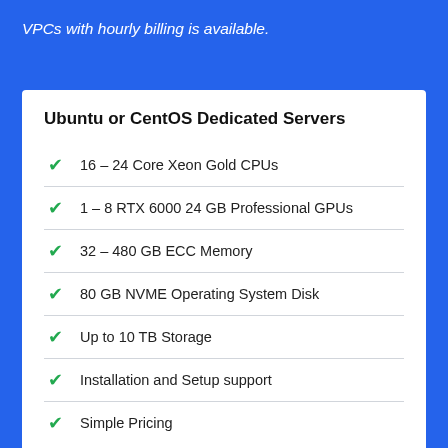VPCs with hourly billing is available.
Ubuntu or CentOS Dedicated Servers
16 – 24 Core Xeon Gold CPUs
1 – 8 RTX 6000 24 GB Professional GPUs
32 – 480 GB ECC Memory
80 GB NVME Operating System Disk
Up to 10 TB Storage
Installation and Setup support
Simple Pricing